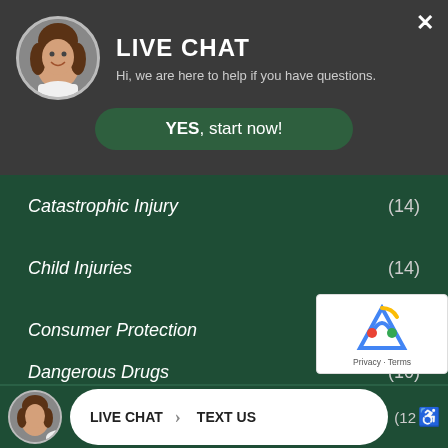[Figure (screenshot): Live chat widget header with avatar photo of a smiling woman, bold LIVE CHAT title, subtitle text, close button, and a YES start now button]
LIVE CHAT
Hi, we are here to help if you have questions.
Catastrophic Injury (14)
Child Injuries (14)
Consumer Protection (6)
Dangerous Drugs (10)
Defective Products (41)
LIVE CHAT  TEXT US  (12)